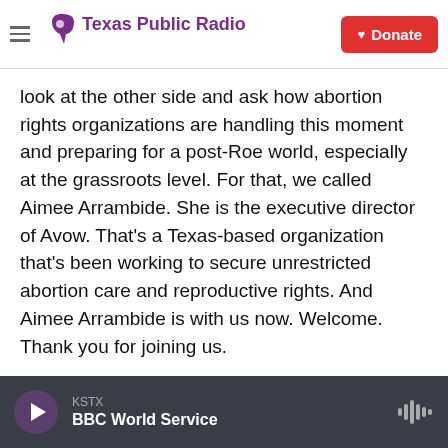Texas Public Radio | Donate
look at the other side and ask how abortion rights organizations are handling this moment and preparing for a post-Roe world, especially at the grassroots level. For that, we called Aimee Arrambide. She is the executive director of Avow. That's a Texas-based organization that's been working to secure unrestricted abortion care and reproductive rights. And Aimee Arrambide is with us now. Welcome. Thank you for joining us.
AIMEE ARRAMBIDE: Thank you so much for having me.
KSTX | BBC World Service